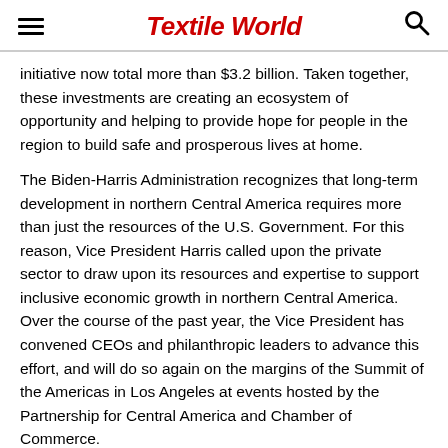Textile World
initiative now total more than $3.2 billion. Taken together, these investments are creating an ecosystem of opportunity and helping to provide hope for people in the region to build safe and prosperous lives at home.
The Biden-Harris Administration recognizes that long-term development in northern Central America requires more than just the resources of the U.S. Government. For this reason, Vice President Harris called upon the private sector to draw upon its resources and expertise to support inclusive economic growth in northern Central America. Over the course of the past year, the Vice President has convened CEOs and philanthropic leaders to advance this effort, and will do so again on the margins of the Summit of the Americas in Los Angeles at events hosted by the Partnership for Central America and Chamber of Commerce.